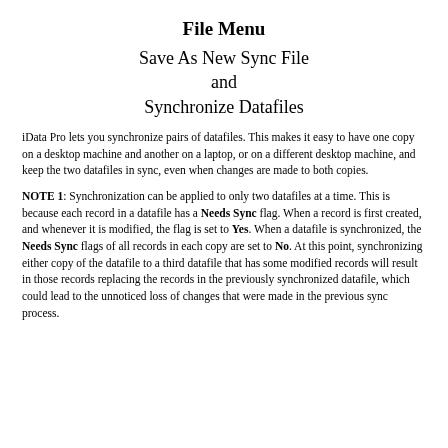File Menu
Save As New Sync File
and
Synchronize Datafiles
iData Pro lets you synchronize pairs of datafiles. This makes it easy to have one copy on a desktop machine and another on a laptop, or on a different desktop machine, and keep the two datafiles in sync, even when changes are made to both copies.
NOTE 1: Synchronization can be applied to only two datafiles at a time. This is because each record in a datafile has a Needs Sync flag. When a record is first created, and whenever it is modified, the flag is set to Yes. When a datafile is synchronized, the Needs Sync flags of all records in each copy are set to No. At this point, synchronizing either copy of the datafile to a third datafile that has some modified records will result in those records replacing the records in the previously synchronized datafile, which could lead to the unnoticed loss of changes that were made in the previous sync process.